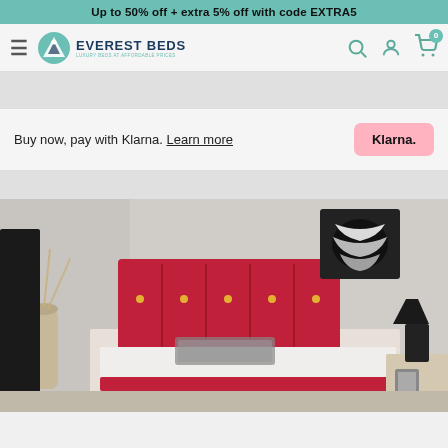Up to 50% off + extra 5% off with code EXTRA5
[Figure (logo): Everest Beds logo with mountain icon and text 'EVEREST BEDS - LUXURY BEDS AT AFFORDABLE PRICES', navigation icons for search, account, and cart with badge 0]
Buy now, pay with Klarna. Learn more  Klarna.
[Figure (photo): Product photo of a bed with a red/pink upholstered headboard with button tufting in a bedroom setting with gray walls, zebra artwork, decorative vase, and black lamp on bedside table]